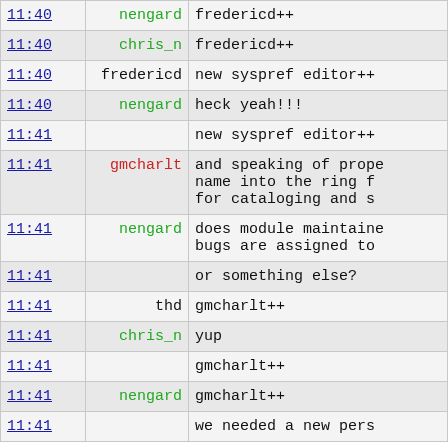| time | name | message |
| --- | --- | --- |
| 11:40 | nengard | fredericd++ |
| 11:40 | chris_n | fredericd++ |
| 11:40 | fredericd | new syspref editor++ |
| 11:40 | nengard | heck yeah!!! |
| 11:41 |  | new syspref editor++ |
| 11:41 | gmcharlt | and speaking of prope name into the ring f for cataloging and s |
| 11:41 | nengard | does module maintaine bugs are assigned to |
| 11:41 |  | or something else? |
| 11:41 | thd | gmcharlt++ |
| 11:41 | chris_n | yup |
| 11:41 |  | gmcharlt++ |
| 11:41 | nengard | gmcharlt++ |
| 11:41 |  | we needed a new pers |